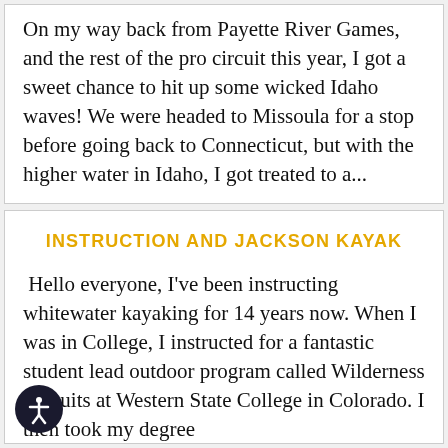On my way back from Payette River Games, and the rest of the pro circuit this year, I got a sweet chance to hit up some wicked Idaho waves! We were headed to Missoula for a stop before going back to Connecticut, but with the higher water in Idaho, I got treated to a...
INSTRUCTION AND JACKSON KAYAK
Hello everyone, I've been instructing whitewater kayaking for 14 years now. When I was in College, I instructed for a fantastic student lead outdoor program called Wilderness Pursuits at Western State College in Colorado. I then took my degree